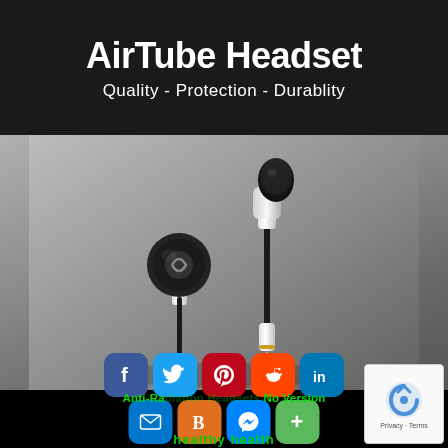AirTube Headset
Quality - Protection - Durablity
[Figure (photo): Product photo of AirTube earphone headset components on grey background, showing earpiece with black foam tip and silver metal tube connector, and a separate ear bud component]
Anti-Radiation Headsets o Version
[Figure (infographic): Social sharing icons row 1: Facebook, Twitter, Pinterest, Reddit, LinkedIn; Row 2: Email, Blogger, Messenger, Plus. Also Google reCAPTCHA widget in bottom right.]
healthy health